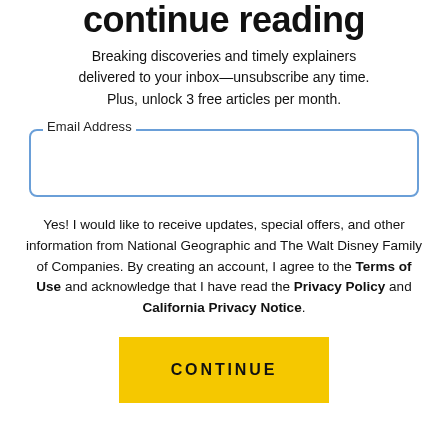continue reading
Breaking discoveries and timely explainers delivered to your inbox—unsubscribe any time. Plus, unlock 3 free articles per month.
Email Address
Yes! I would like to receive updates, special offers, and other information from National Geographic and The Walt Disney Family of Companies. By creating an account, I agree to the Terms of Use and acknowledge that I have read the Privacy Policy and California Privacy Notice.
CONTINUE